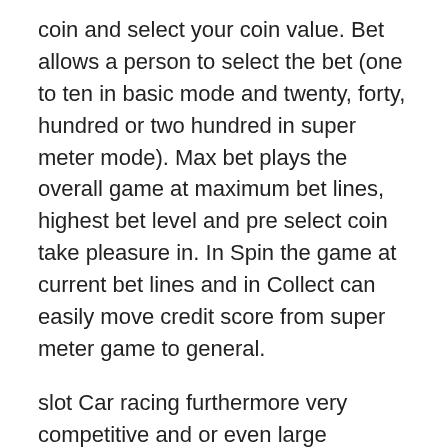coin and select your coin value. Bet allows a person to select the bet (one to ten in basic mode and twenty, forty, hundred or two hundred in super meter mode). Max bet plays the overall game at maximum bet lines, highest bet level and pre select coin take pleasure in. In Spin the game at current bet lines and in Collect can easily move credit score from super meter game to general.
slot Car racing furthermore very competitive and or even large tournaments with honors. To find out more about slot car racing the look at Mid-America Raceway and their racing protocols. Here is a sample of some for this local track rules.
Take Regarding the Player Rewards – whether tend to be playing at an online casino, or among the list of land-based casinos, you always be playing using a player's calling card. Make sure the casino knows that you are